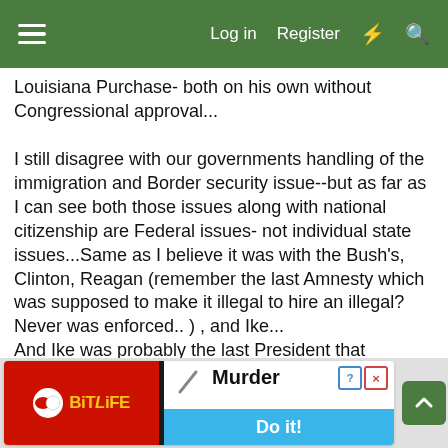☰   Log in   Register   ⚡   🔍
Louisiana Purchase- both on his own without Congressional approval...

I still disagree with our governments handling of the immigration and Border security issue--but as far as I can see both those issues along with national citizenship are Federal issues- not individual state issues...Same as I believe it was with the Bush's, Clinton, Reagan (remember the last Amnesty which was supposed to make it illegal to hire an illegal? Never was enforced.. ) , and Ike...
And Ike was probably the last President that seriously took any action to solve the illegal alien problem... So I've given up much hope of anyone (R or D) doing anything...
[Figure (screenshot): BitLife advertisement banner with red left section showing BitLife logo and white right section showing 'Murder Do it!' with blue button]